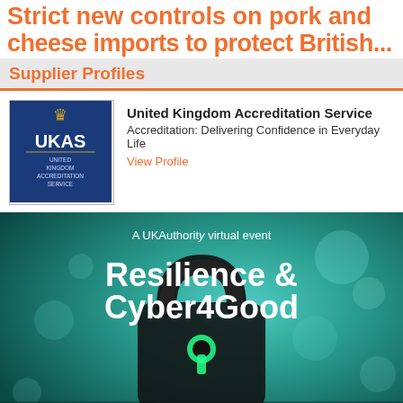Strict new controls on pork and cheese imports to protect British...
Supplier Profiles
[Figure (logo): UKAS United Kingdom Accreditation Service logo — blue background with crown and text]
United Kingdom Accreditation Service
Accreditation: Delivering Confidence in Everyday Life
View Profile
[Figure (photo): A UKAuthority virtual event banner: 'Resilience & Cyber4Good' with a glowing green padlock on a teal circuit board background]